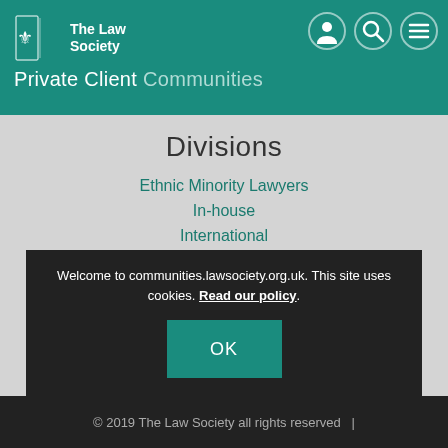The Law Society — Private Client Communities
Divisions
Ethnic Minority Lawyers
In-house
International
Junior Lawyers
Lawyers with Disabilities
LGBT Lawyers
Welcome to communities.lawsociety.org.uk. This site uses cookies. Read our policy.
© 2019 The Law Society all rights reserved  |